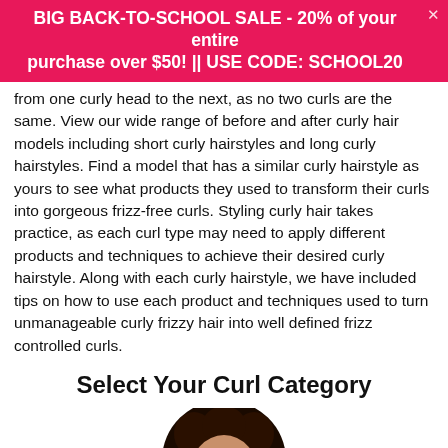BIG BACK-TO-SCHOOL SALE - 20% of your entire purchase over $50! || USE CODE: SCHOOL20
from one curly head to the next, as no two curls are the same. View our wide range of before and after curly hair models including short curly hairstyles and long curly hairstyles. Find a model that has a similar curly hairstyle as yours to see what products they used to transform their curls into gorgeous frizz-free curls. Styling curly hair takes practice, as each curl type may need to apply different products and techniques to achieve their desired curly hairstyle. Along with each curly hairstyle, we have included tips on how to use each product and techniques used to turn unmanageable curly frizzy hair into well defined frizz controlled curls.
Select Your Curl Category
[Figure (photo): Woman with curly dark hair shown from shoulders up, centered on white background. A purple chat/voice bubble icon appears in the bottom-right corner.]